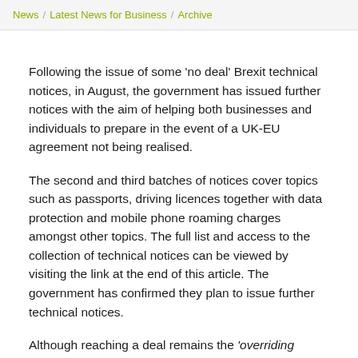News / Latest News for Business / Archive
Following the issue of some 'no deal' Brexit technical notices, in August, the government has issued further notices with the aim of helping both businesses and individuals to prepare in the event of a UK-EU agreement not being realised.
The second and third batches of notices cover topics such as passports, driving licences together with data protection and mobile phone roaming charges amongst other topics. The full list and access to the collection of technical notices can be viewed by visiting the link at the end of this article. The government has confirmed they plan to issue further technical notices.
Although reaching a deal remains the 'overriding priority' unless a Withdrawal Agreement is ratified by the UK and European Parliaments, the possibility of the